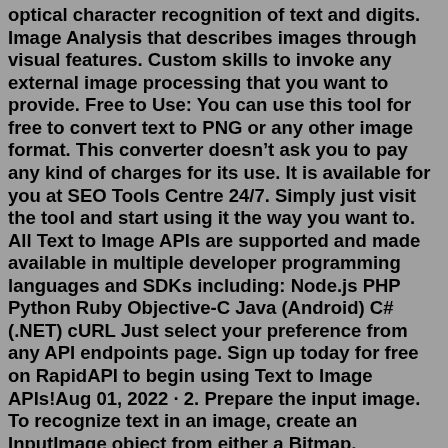optical character recognition of text and digits. Image Analysis that describes images through visual features. Custom skills to invoke any external image processing that you want to provide. Free to Use: You can use this tool for free to convert text to PNG or any other image format. This converter doesn’t ask you to pay any kind of charges for its use. It is available for you at SEO Tools Centre 24/7. Simply just visit the tool and start using it the way you want to. All Text to Image APIs are supported and made available in multiple developer programming languages and SDKs including: Node.js PHP Python Ruby Objective-C Java (Android) C# (.NET) cURL Just select your preference from any API endpoints page. Sign up today for free on RapidAPI to begin using Text to Image APIs!Aug 01, 2022 · 2. Prepare the input image. To recognize text in an image, create an InputImage object from either a Bitmap, media.Image, ByteBuffer, byte array, or a file on the device. Then, pass the InputImage object to the